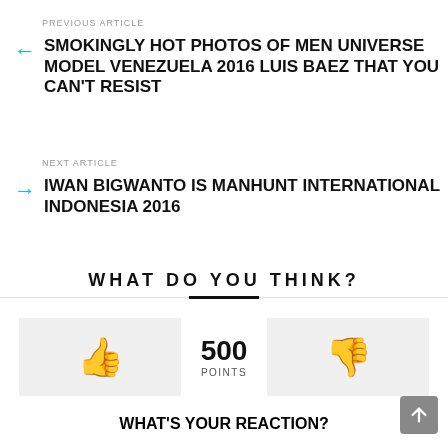PREVIOUS ARTICLE
SMOKINGLY HOT PHOTOS OF MEN UNIVERSE MODEL VENEZUELA 2016 LUIS BAEZ THAT YOU CAN'T RESIST
NEXT ARTICLE
IWAN BIGWANTO IS MANHUNT INTERNATIONAL INDONESIA 2016
WHAT DO YOU THINK?
500 POINTS
WHAT'S YOUR REACTION?